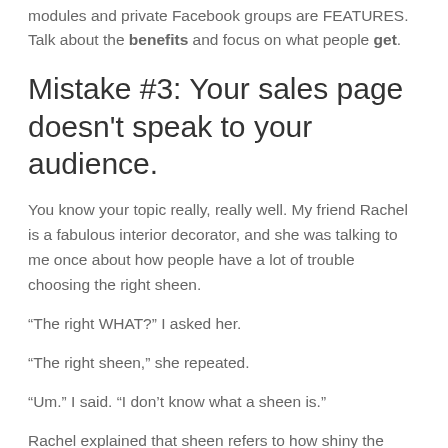modules and private Facebook groups are FEATURES. Talk about the benefits and focus on what people get.
Mistake #3: Your sales page doesn't speak to your audience.
You know your topic really, really well. My friend Rachel is a fabulous interior decorator, and she was talking to me once about how people have a lot of trouble choosing the right sheen.
“The right WHAT?” I asked her.
“The right sheen,” she repeated.
“Um.” I said. “I don’t know what a sheen is.”
Rachel explained that sheen refers to how shiny the paint is. This is something she